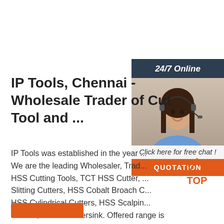[Figure (infographic): Sidebar with 24/7 Online banner, agent photo with headset, Click here for free chat text, and QUOTATION button]
IP Tools, Chennai - Wholesale Trader of Cutting Tool and ...
IP Tools was established in the year ... We are the leading Wholesaler, Trader... HSS Cutting Tools, TCT HSS Cutter, Slitting Cutters, HSS Cobalt Broach C... HSS Cylindrical Cutters, HSS Scalping Cutters, HSS Countersink. Offered range is available at very affordable rates. These are widely acclaimmed by the clientele. + Read More
[Figure (logo): TOP badge with orange dots and arrow icon]